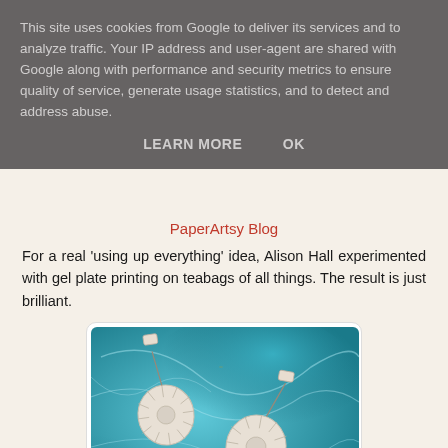This site uses cookies from Google to deliver its services and to analyze traffic. Your IP address and user-agent are shared with Google along with performance and security metrics to ensure quality of service, generate usage statistics, and to detect and address abuse.
LEARN MORE   OK
PaperArtsy Blog
For a real 'using up everything' idea, Alison Hall experimented with gel plate printing on teabags of all things. The result is just brilliant.
[Figure (photo): A photograph of teabags printed with teal/blue gel plate prints laid out on a dark surface, showing circular teabag shapes with strings and tags against a vivid blue marbled printed background.]